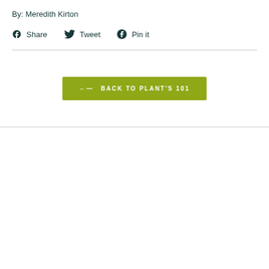By: Meredith Kirton
Share   Tweet   Pin it
← BACK TO PLANT'S 101